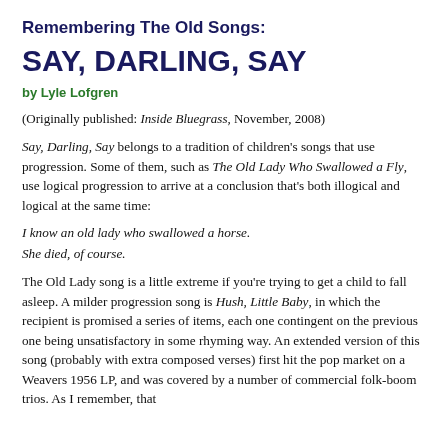Remembering The Old Songs:
SAY, DARLING, SAY
by Lyle Lofgren
(Originally published: Inside Bluegrass, November, 2008)
Say, Darling, Say belongs to a tradition of children's songs that use progression. Some of them, such as The Old Lady Who Swallowed a Fly, use logical progression to arrive at a conclusion that's both illogical and logical at the same time:
I know an old lady who swallowed a horse.
She died, of course.
The Old Lady song is a little extreme if you're trying to get a child to fall asleep. A milder progression song is Hush, Little Baby, in which the recipient is promised a series of items, each one contingent on the previous one being unsatisfactory in some rhyming way. An extended version of this song (probably with extra composed verses) first hit the pop market on a Weavers 1956 LP, and was covered by a number of commercial folk-boom trios. As I remember, that